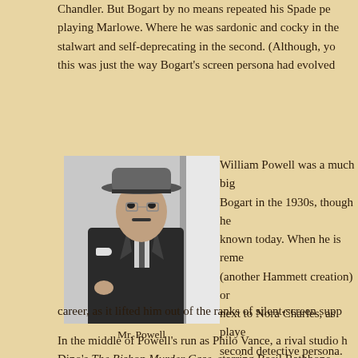Chandler. But Bogart by no means repeated his Spade performance playing Marlowe. Where he was sardonic and cocky in the first, he was stalwart and self-deprecating in the second. (Although, you could argue this was just the way Bogart's screen persona had evolved
[Figure (photo): Black and white photograph of William Powell wearing a suit, tie, and fedora hat, with a flower in his lapel]
Mr. Powell
William Powell was a much bigger star than Bogart in the 1930s, though he is less well known today. When he is remembered, it is as (another Hammett creation) or as Nick Charles, next to Nora Charles, as played second detective persona. The Powell first played Vance in the Case in 1929 and then in three Kennel Murder Case, released Powell's Philo Vance, a well-dressed gloves), would never be mistaken for Nick Charles. But the Vance role was important for his career, as it lifted him out of the ranks of silent-screen supp
In the middle of Powell's run as Philo Vance, a rival studio Dino's The Bishop Murder Case, starring Basil Rathbone